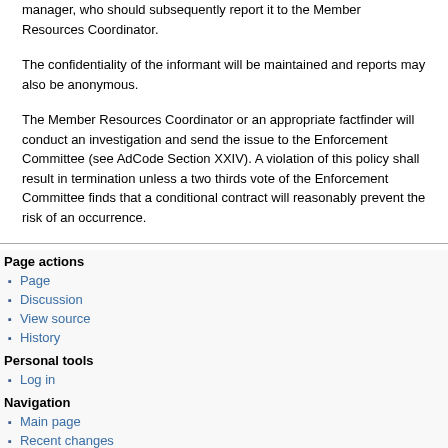manager, who should subsequently report it to the Member Resources Coordinator.
The confidentiality of the informant will be maintained and reports may also be anonymous.
The Member Resources Coordinator or an appropriate factfinder will conduct an investigation and send the issue to the Enforcement Committee (see AdCode Section XXIV). A violation of this policy shall result in termination unless a two thirds vote of the Enforcement Committee finds that a conditional contract will reasonably prevent the risk of an occurrence.
Page actions
Page
Discussion
View source
History
Personal tools
Log in
Navigation
Main page
Recent changes
Random page